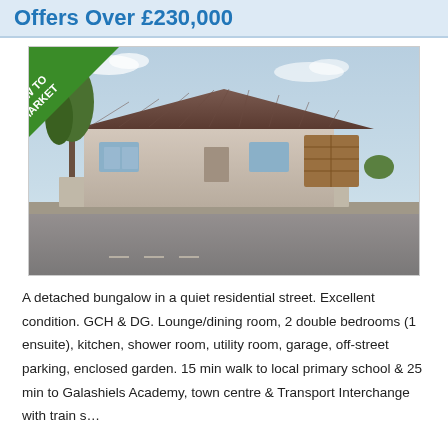Offers Over £230,000
[Figure (photo): Exterior photo of a detached bungalow with tiled roof, light render walls, brown garage door, stone garden wall, blue sky background. A green 'NEW TO MARKET' banner in top-left corner.]
A detached bungalow in a quiet residential street. Excellent condition. GCH & DG. Lounge/dining room, 2 double bedrooms (1 ensuite), kitchen, shower room, utility room, garage, off-street parking, enclosed garden. 15 min walk to local primary school & 25 min to Galashiels Academy, town centre & Transport Interchange with train s…